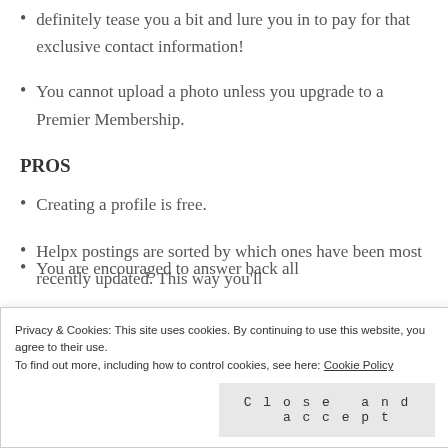definitely tease you a bit and lure you in to pay for that exclusive contact information!
You cannot upload a photo unless you upgrade to a Premier Membership.
PROS
Creating a profile is free.
Helpx postings are sorted by which ones have been most recently updated. This way you'll
Privacy & Cookies: This site uses cookies. By continuing to use this website, you agree to their use.
To find out more, including how to control cookies, see here: Cookie Policy
You are encouraged to answer back all